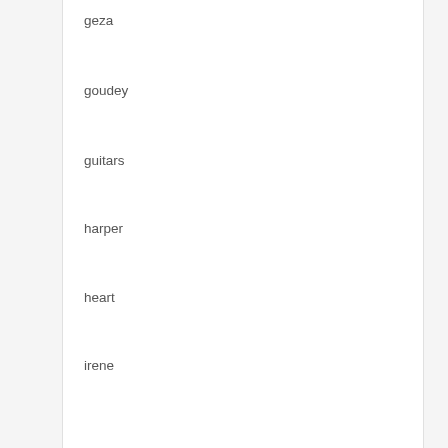geza
goudey
guitars
harper
heart
irene
jeannette
john
johnny
kilmer
kiss
marlene
maxine
most
muhammad